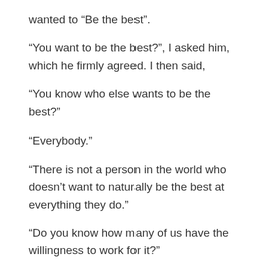wanted to “Be the best”.
“You want to be the best?”, I asked him, which he firmly agreed. I then said,
“You know who else wants to be the best?”
“Everybody.”
“There is not a person in the world who doesn’t want to naturally be the best at everything they do.”
“Do you know how many of us have the willingness to work for it?”
“Almost none. Including me. I hope you find the willingness to be the best at whatever it is